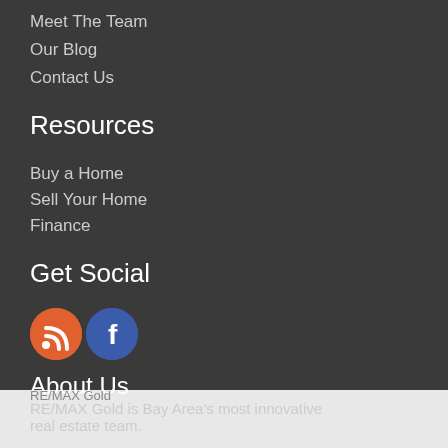Meet The Team
Our Blog
Contact Us
Resources
Buy a Home
Sell Your Home
Finance
Get Social
[Figure (illustration): RSS feed icon (orange circle with white RSS symbol) and Facebook icon (blue circle with white f)]
About Us
RE/MAX Gold is Bay Area's most innovative real estate team.
Take a Tour
Ask A Question